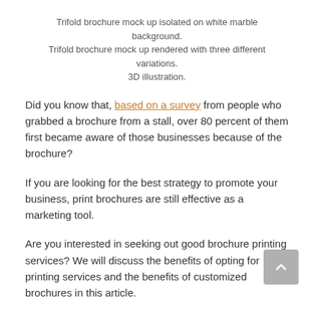Trifold brochure mock up isolated on white marble background. Trifold brochure mock up rendered with three different variations. 3D illustration.
Did you know that, based on a survey from people who grabbed a brochure from a stall, over 80 percent of them first became aware of those businesses because of the brochure?
If you are looking for the best strategy to promote your business, print brochures are still effective as a marketing tool.
Are you interested in seeking out good brochure printing services? We will discuss the benefits of opting for printing services and the benefits of customized brochures in this article.
Benefits of Brochure Printing
Reach your intended audience, and save money with